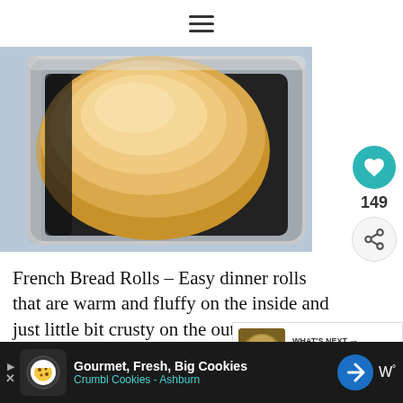≡
[Figure (photo): Close-up of French bread rolls (golden-brown tops) in a metallic baking pan, viewed from above at an angle on a light blue surface.]
French Bread Rolls – Easy dinner rolls that are warm and fluffy on the inside and just little bit crusty on the outside. Perfect pairing with just about any dinner!
[Figure (other): READ MORE teal button]
[Figure (infographic): WHAT'S NEXT → 27 Skillet Dinner... with thumbnail image of skillet dish]
[Figure (infographic): Advertisement bar: Gourmet, Fresh, Big Cookies Crumbl Cookies - Ashburn, with cookie icon, navigation arrow icon, and weather icon showing W°]